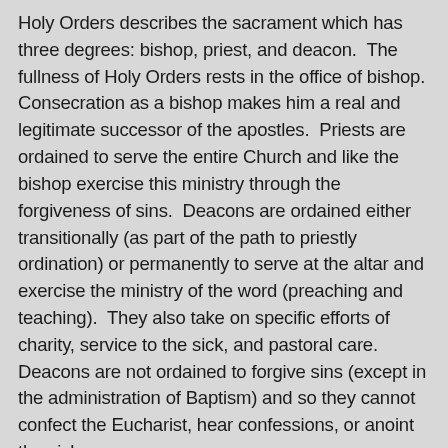Holy Orders describes the sacrament which has three degrees: bishop, priest, and deacon. The fullness of Holy Orders rests in the office of bishop. Consecration as a bishop makes him a real and legitimate successor of the apostles. Priests are ordained to serve the entire Church and like the bishop exercise this ministry through the forgiveness of sins. Deacons are ordained either transitionally (as part of the path to priestly ordination) or permanently to serve at the altar and exercise the ministry of the word (preaching and teaching). They also take on specific efforts of charity, service to the sick, and pastoral care. Deacons are not ordained to forgive sins (except in the administration of Baptism) and so they cannot confect the Eucharist, hear confessions, or anoint the sick.